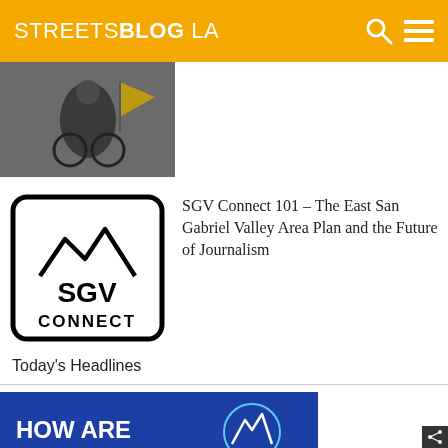STREETSBLOG LA
[Figure (photo): Person on bicycle with yellow flag, street scene]
[Figure (logo): SGV Connect logo - black mountains and text on white background with rounded border]
SGV Connect 101 – The East San Gabriel Valley Area Plan and the Future of Journalism
Today's Headlines
[Figure (infographic): Foothill Transit advertisement asking 'HOW ARE WE DOING?' with Foothill Transit logo on blue background]